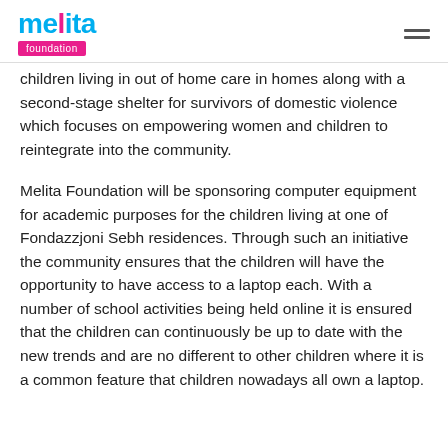melita foundation
children living in out of home care in homes along with a second-stage shelter for survivors of domestic violence which focuses on empowering women and children to reintegrate into the community.
Melita Foundation will be sponsoring computer equipment for academic purposes for the children living at one of Fondazzjoni Sebh residences. Through such an initiative the community ensures that the children will have the opportunity to have access to a laptop each. With a number of school activities being held online it is ensured that the children can continuously be up to date with the new trends and are no different to other children where it is a common feature that children nowadays all own a laptop.